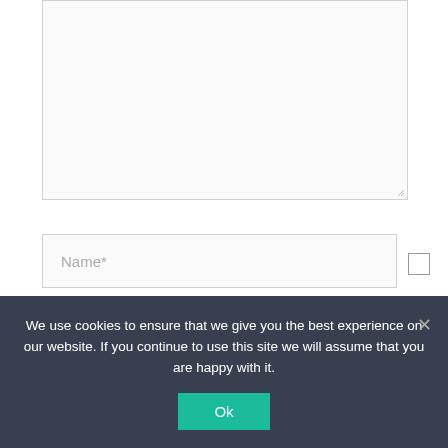[Figure (screenshot): A textarea input box (large, empty, with light gray border and resize handle at bottom-right)]
Name*
[Figure (screenshot): A checkbox (unchecked square)]
Email*
We use cookies to ensure that we give you the best experience on our website. If you continue to use this site we will assume that you are happy with it.
Ok